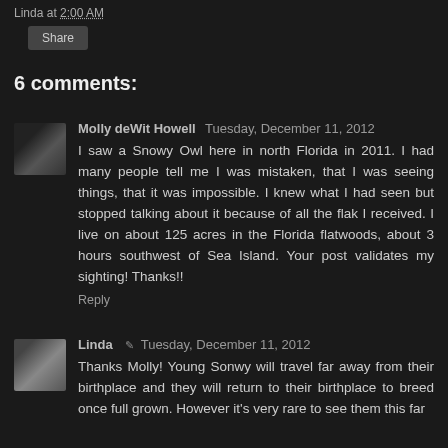Linda at 2:00 AM
Share
6 comments:
Molly deWit Howell Tuesday, December 11, 2012
I saw a Snowy Owl here in north Florida in 2011. I had many people tell me I was mistaken, that I was seeing things, that it was impossible. I knew what I had seen but stopped talking about it because of all the flak I received. I live on about 125 acres in the Florida flatwoods, about 3 hours southwest of Sea Island. Your post validates my sighting! Thanks!!
Reply
Linda Tuesday, December 11, 2012
Thanks Molly! Young Sonwy will travel far away from their birthplace and they will return to their birthplace to breed once full grown. However it's very rare to see them this far